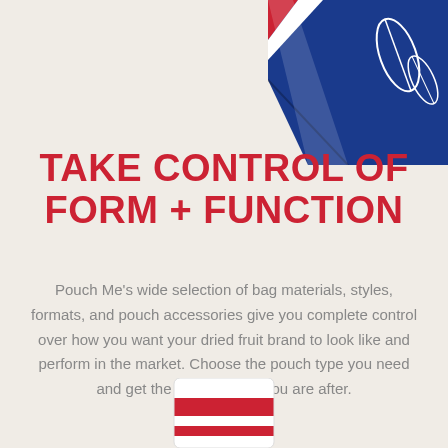[Figure (photo): Top-right corner of a blue packaging bag with white leaf illustrations and red/white striped element, partially cropped]
TAKE CONTROL OF FORM + FUNCTION
Pouch Me's wide selection of bag materials, styles, formats, and pouch accessories give you complete control over how you want your dried fruit brand to look like and perform in the market. Choose the pouch type you need and get the exact results you are after.
[Figure (photo): Bottom portion of a red and white striped packaging pouch, partially cropped at the bottom of the page]